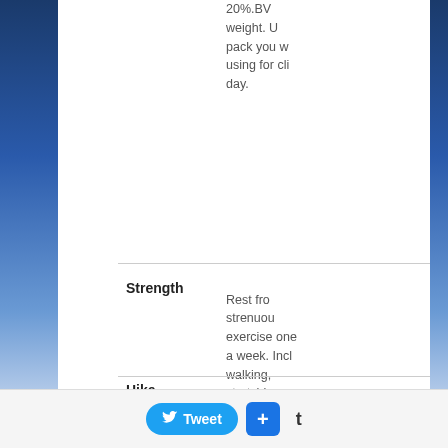20%.BW... weight. ...pack you w... using for cli... day.
Strength
Rest fro... strenuou... exercise one a week. Incl walking, stretching o foam rolling day.
Stretch each muscle grou days a week
Hike
Foam roll 2-
Tweet + t